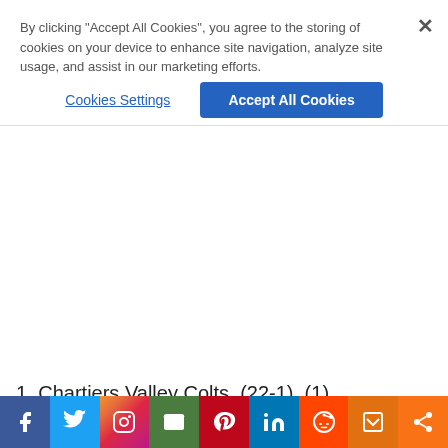By clicking "Accept All Cookies", you agree to the storing of cookies on your device to enhance site navigation, analyze site usage, and assist in our marketing efforts.
Cookies Settings
Accept All Cookies
1. Chartiers Valley Colts, (22-1), (1)
2. Blackhawk Cougars, (21-0), (2)
3. Mt. Lebanon Blue Devils, (21-1), (3)
4. Indiana Little Indians, (20-3), (4)
5. North Allegheny Tigers, (21-2), (5)
6. Upper St. Clair Panthers, (19-4), (6)
7. North Catholic Trojans, (17-5), (7)